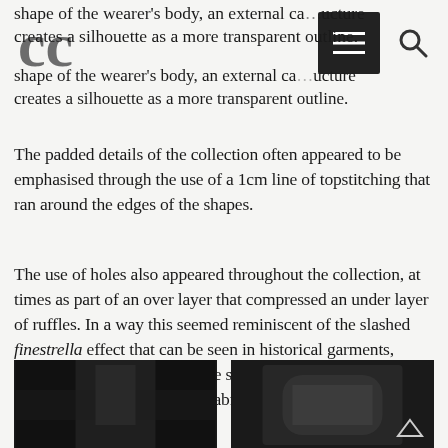silhouette of the crinoline and bustle could pretend to be shape of the wearer's body, an external ca... ucture creates a silhouette as a more transparent outline.
The padded details of the collection often appeared to be emphasised through the use of a 1cm line of topstitching that ran around the edges of the shapes.
The use of holes also appeared throughout the collection, at times as part of an over layer that compressed an under layer of ruffles. In a way this seemed reminiscent of the slashed finestrella effect that can be seen in historical garments, particularly sleeves, where the slashed outer layer is pushed open by a contrasting under fabric.
[Figure (photo): Fashion photograph showing a model in a dark structured garment with dramatic headpiece against dark background]
[Figure (photo): Close-up fashion photograph showing dark structured garment detail with sheer/mesh elements]